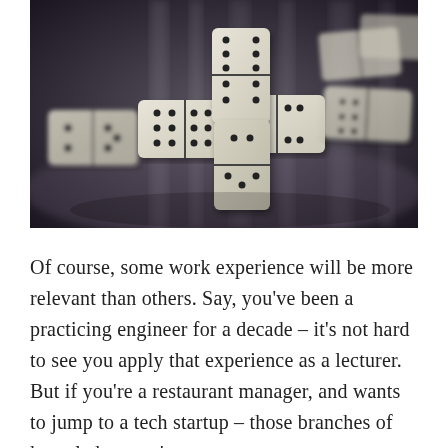[Figure (photo): Close-up photograph of domino tiles arranged in a cross/plus pattern on a reflective surface, with a blurred dark background. The dominoes are cream/ivory colored with black dots.]
Of course, some work experience will be more relevant than others. Say, you've been a practicing engineer for a decade – it's not hard to see you apply that experience as a lecturer. But if you're a restaurant manager, and wants to jump to a tech startup – those branches of knowledge aren't as